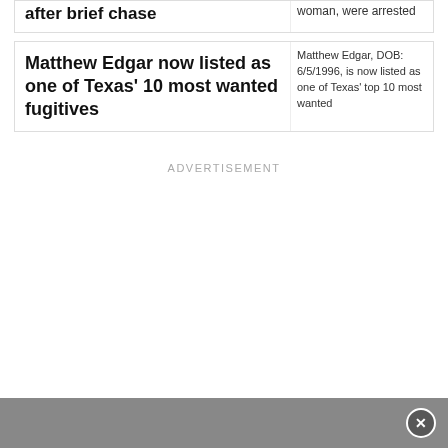after brief chase | woman, were arrested
Matthew Edgar now listed as one of Texas' 10 most wanted fugitives
Matthew Edgar, DOB: 6/5/1996, is now listed as one of Texas' top 10 most wanted
ADVERTISEMENT